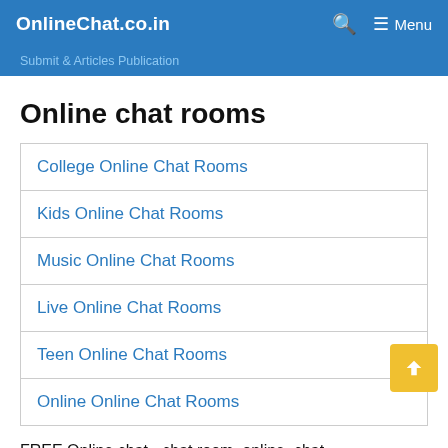OnlineChat.co.in   🔍   ☰ Menu
Submit & Articles Publication
Online chat rooms
College Online Chat Rooms
Kids Online Chat Rooms
Music Online Chat Rooms
Live Online Chat Rooms
Teen Online Chat Rooms
Online Online Chat Rooms
FREE Online chat - chat room, online, chat,